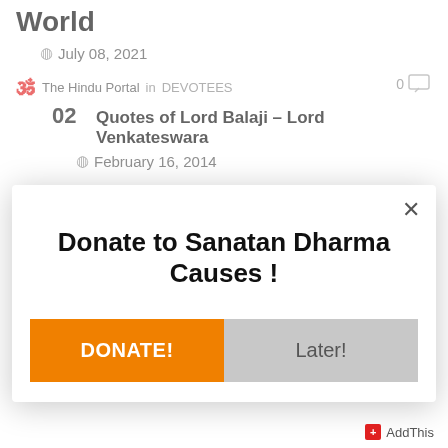World
July 08, 2021
The Hindu Portal in DEVOTEES
02 Quotes of Lord Balaji – Lord Venkateswara
February 16, 2014
The Hindu Portal in Archeological evidences
Donate to Sanatan Dharma Causes !
DONATE!
Later!
AddThis